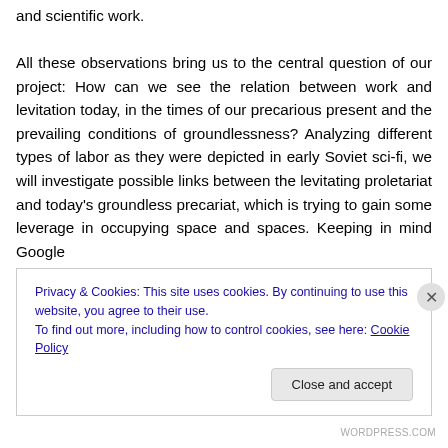and scientific work.

All these observations bring us to the central question of our project: How can we see the relation between work and levitation today, in the times of our precarious present and the prevailing conditions of groundlessness? Analyzing different types of labor as they were depicted in early Soviet sci-fi, we will investigate possible links between the levitating proletariat and today's groundless precariat, which is trying to gain some leverage in occupying space and spaces. Keeping in mind Google
Privacy & Cookies: This site uses cookies. By continuing to use this website, you agree to their use.
To find out more, including how to control cookies, see here: Cookie Policy